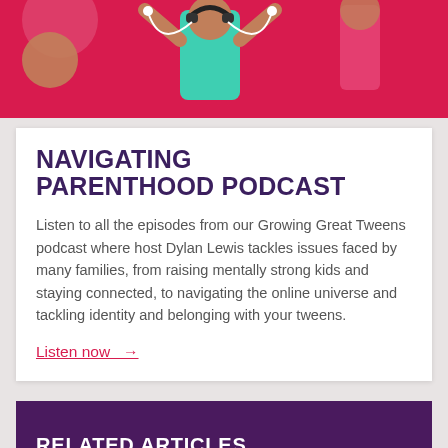[Figure (illustration): Illustration of a person with headphones and raised arms against a red/pink background, podcast-themed artwork]
NAVIGATING PARENTHOOD PODCAST
Listen to all the episodes from our Growing Great Tweens podcast where host Dylan Lewis tackles issues faced by many families, from raising mentally strong kids and staying connected, to navigating the online universe and tackling identity and belonging with your tweens.
Listen now →
RELATED ARTICLES